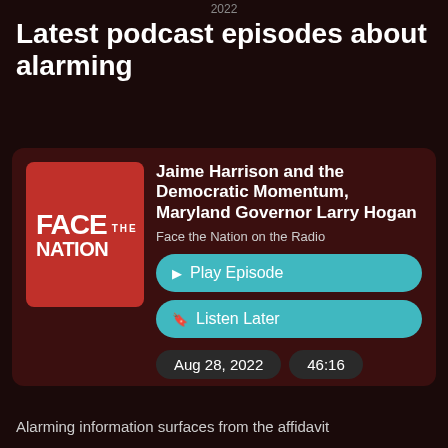2022
Latest podcast episodes about alarming
[Figure (screenshot): Podcast episode card for 'Face the Nation on the Radio' showing episode titled 'Jaime Harrison and the Democratic Momentum, Maryland Governor Larry Hogan' with Play Episode and Listen Later buttons, dated Aug 28, 2022, duration 46:16]
Alarming information surfaces from the affidavit